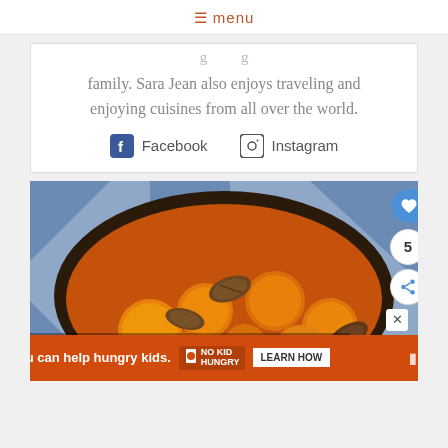≡ menu
family. Sara Jean also enjoys traveling and enjoying cuisines from all over the world.
Facebook   Instagram
[Figure (photo): A skillet with candied sweet potatoes and pecans in orange sauce, on a blue patterned cloth background. Overlay text reads: Old Fashioned Candied Sweet [Potatoes]. Social action buttons (heart, count 5, share) on right side.]
You can help hungry kids. NO KID HUNGRY LEARN HOW